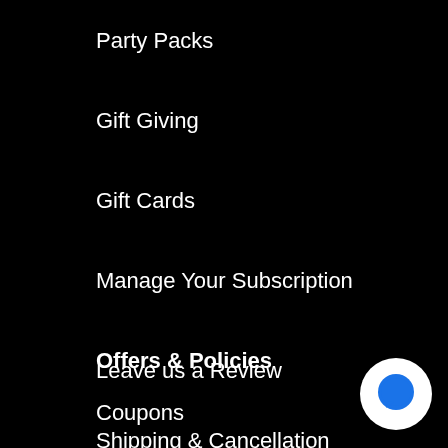Party Packs
Gift Giving
Gift Cards
Manage Your Subscription
Offers & Policies
Coupons
[Figure (logo): Shopify Secure badge with green shopping bag icon]
Leave us a Review
[Figure (illustration): White circle with blue speech bubble chat icon]
Shipping & Cancellation